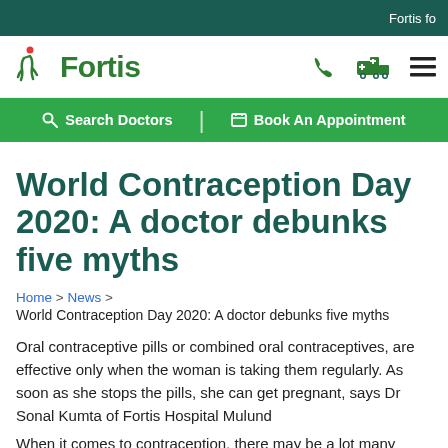Fortis fo
[Figure (logo): Fortis hospital logo with green figure icon and 'Fortis' text]
Search Doctors | Book An Appointment
World Contraception Day 2020: A doctor debunks five myths
Home > News > World Contraception Day 2020: A doctor debunks five myths
Oral contraceptive pills or combined oral contraceptives, are effective only when the woman is taking them regularly. As soon as she stops the pills, she can get pregnant, says Dr Sonal Kumta of Fortis Hospital Mulund
When it comes to contraception, there may be a lot many